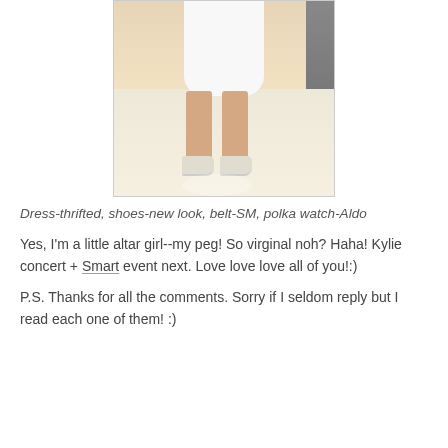[Figure (photo): Photo of person wearing a white dress, white shoes on a light-colored floor, with dark display element on the right side.]
Dress-thrifted, shoes-new look, belt-SM, polka watch-Aldo
Yes, I'm a little altar girl--my peg! So virginal noh? Haha! Kylie concert + Smart event next. Love love love all of you!:)
P.S. Thanks for all the comments. Sorry if I seldom reply but I read each one of them! :)